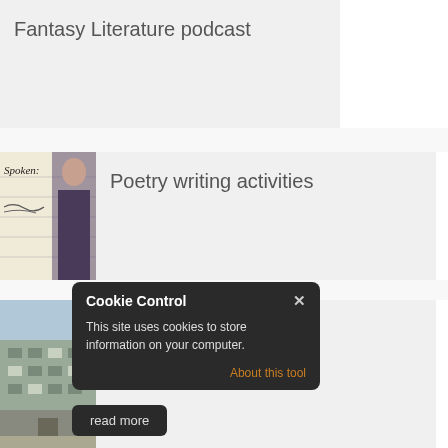[Figure (illustration): Orange/red phoenix flame bird logo on white background]
Fantasy Literature podcast
[Figure (photo): Photo of person with handwritten text 'Spoken:' visible, notebook lines in background]
Poetry writing activities
[Figure (photo): Photo of a brutalist university building exterior]
Academy of... podcasts
Cookie Control
This site uses cookies to store information on your computer.
About this tool
read more